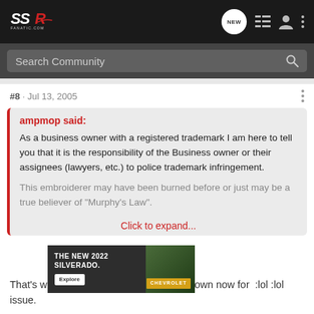SSR Fanatic.com
Search Community
#8 · Jul 13, 2005
ampmop said:

As a business owner with a registered trademark I am here to tell you that it is the responsibility of the Business owner or their assignees (lawyers, etc.) to police trademark infringement.

This embroiderer may have been burned before or just may be a true believer of "Murphy's Law".

Click to expand...
That's w... own now for ... :lol :lol issue.